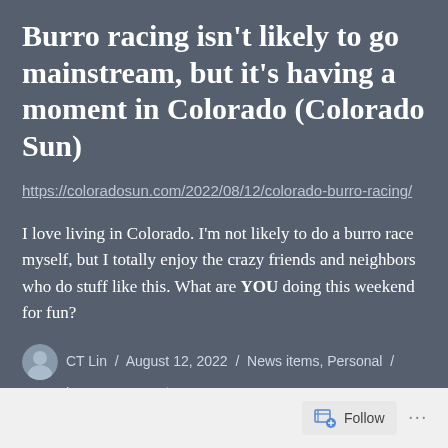Burro racing isn't likely to go mainstream, but it's having a moment in Colorado (Colorado Sun)
https://coloradosun.com/2022/08/12/colorado-burro-racing/
I love living in Colorado. I'm not likely to do a burro race myself, but I totally enjoy the crazy friends and neighbors who do stuff like this. What are YOU doing this weekend for fun?
CT Lin / August 12, 2022 / News items, Personal /
Leave a comment